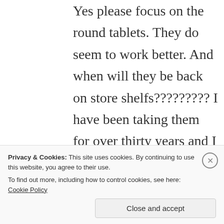Yes please focus on the round tablets. They do seem to work better. And when will they be back on store shelfs????????? I have been taking them for over thirty years and I take one every morning to avoid a headache and for my joint pain . I LOVE
Privacy & Cookies: This site uses cookies. By continuing to use this website, you agree to their use. To find out more, including how to control cookies, see here: Cookie Policy
Close and accept